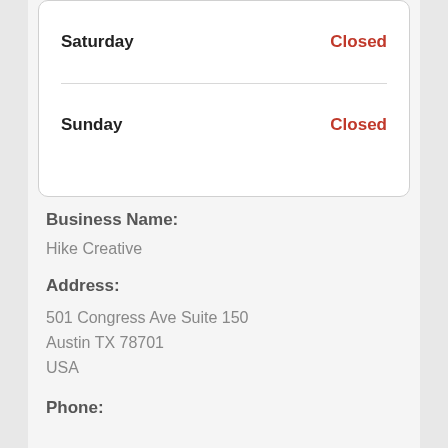| Day | Hours |
| --- | --- |
| Saturday | Closed |
| Sunday | Closed |
Business Name:
Hike Creative
Address:
501 Congress Ave Suite 150
Austin TX 78701
USA
Phone: